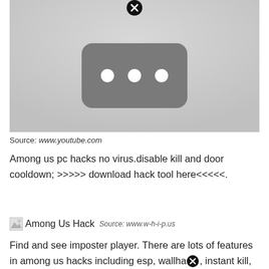[Figure (screenshot): YouTube video thumbnail placeholder showing a dark rounded rectangle with three white dots, and a close/dismiss button at the top center]
Source: www.youtube.com
Among us pc hacks no virus.disable kill and door cooldown; >>>>> download hack tool here<<<<<.
[Figure (illustration): Broken image icon labeled 'Among Us Hack' with source www.w-h-i-p.us]
Find and see imposter player. There are lots of features in among us hacks including esp, wallha[x], instant kill, etc.